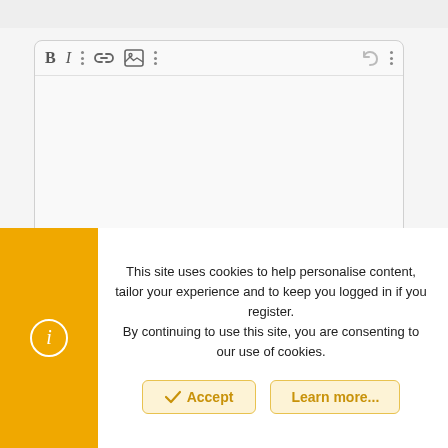[Figure (screenshot): Rich text editor toolbar with Bold (B), Italic (I), three-dot menu, link icon, image icon, three-dot menu, undo arrow, and three-dot settings icons on a light gray background]
Name:
[Figure (screenshot): Empty text input field for Name]
Email:
[Figure (screenshot): Partially visible empty text input field for Email]
This site uses cookies to help personalise content, tailor your experience and to keep you logged in if you register.
By continuing to use this site, you are consenting to our use of cookies.
[Figure (screenshot): Cookie consent banner with Accept and Learn more... buttons, and an info icon on yellow background on the left]